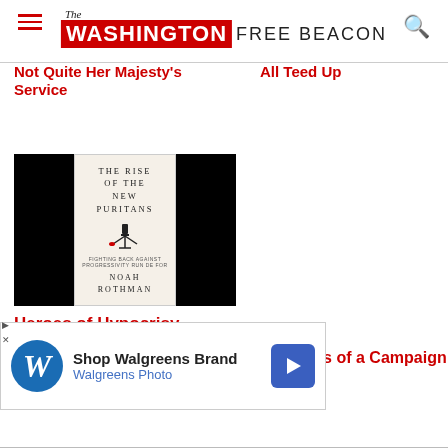The Washington Free Beacon
Not Quite Her Majesty's Service
All Teed Up
[Figure (photo): Book cover of 'The Rise of the New Puritans' by Noah Rothman, with black panels on left and right sides]
Heroes of Hypocrisy
Confessions of a Campaign
[Figure (infographic): Walgreens advertisement banner: Shop Walgreens Brand, Walgreens Photo]